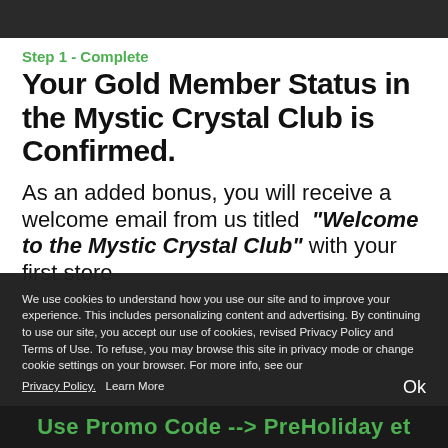[Figure (photo): Dark image banner at top of page]
Step 1 - Complete
Your Gold Member Status in the Mystic Crystal Club is Confirmed.
As an added bonus, you will receive a welcome email from us titled "Welcome to the Mystic Crystal Club" with your first store
We use cookies to understand how you use our site and to improve your experience. This includes personalizing content and advertising. By continuing to use our site, you accept our use of cookies, revised Privacy Policy and Terms of Use. To refuse, you may browse this site in privacy mode or change cookie settings on your browser. For more info, see our Privacy Policy.   Learn More
Ok
Use Promo Code --> PreHoliday et